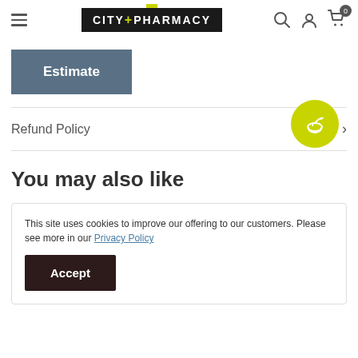[Figure (logo): City+Pharmacy logo with dark background and yellow-green plus sign, hamburger menu icon, search icon, account icon, cart icon with 0 badge]
Estimate
Refund Policy
[Figure (illustration): Green circular button with white mortar and pestle icon]
You may also like
This site uses cookies to improve our offering to our customers. Please see more in our Privacy Policy
Accept